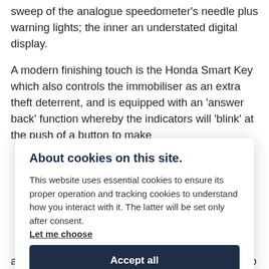sweep of the analogue speedometer's needle plus warning lights; the inner an understated digital display.
A modern finishing touch is the Honda Smart Key which also controls the immobiliser as an extra theft deterrent, and is equipped with an 'answer back' function whereby the indicators will 'blink' at the push of a button to make
About cookies on this site.
This website uses essential cookies to ensure its proper operation and tracking cookies to understand how you interact with it. The latter will be set only after consent. Let me choose
Accept all
Reject all
and seat are rubber mounted and the footpegs also